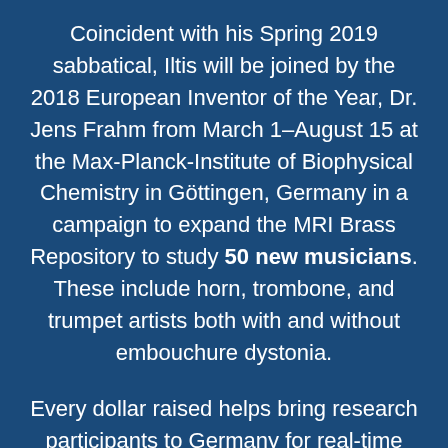Coincident with his Spring 2019 sabbatical, Iltis will be joined by the 2018 European Inventor of the Year, Dr. Jens Frahm from March 1–August 15 at the Max-Planck-Institute of Biophysical Chemistry in Göttingen, Germany in a campaign to expand the MRI Brass Repository to study 50 new musicians. These include horn, trombone, and trumpet artists both with and without embouchure dystonia.
Every dollar raised helps bring research participants to Germany for real-time MRI scans, covering travel and research costs.